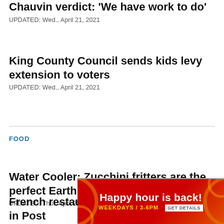Gonzaga University community reflects on Chauvin verdict: ‘We have work to do’
UPDATED: Wed., April 21, 2021
King County Council sends kids levy extension to voters
UPDATED: Wed., April 21, 2021
FOOD
Water Cooler: Zucchini fritters are the perfect Earth Day treat
UPDATED: Thu., April 22, 2021
French restaurant Fleur de Sel closing in Post
[Figure (infographic): Advertisement banner with red/orange gradient background showing 'Happy hour is back!' with 'WEEKDAYS / 3-6PM GET DETAILS' text and decorative circular elements]